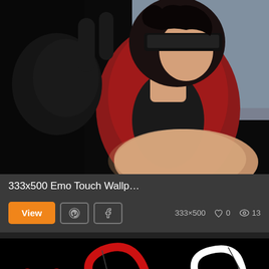[Figure (illustration): Anime character illustration: a dark-haired figure wearing a black headband/visor making a hand gesture, dressed in red and black clothing. The figure appears to be reaching toward the viewer with a blurred hand in the foreground. Dark background.]
333x500 Emo Touch Wallp…
View  [Pinterest icon]  [Facebook icon]  333×500  ♡ 0  👁 13
[Figure (illustration): Dark background illustration with red and white swirling spiral/heart shapes and a small red heart symbol, partially visible at bottom of page.]